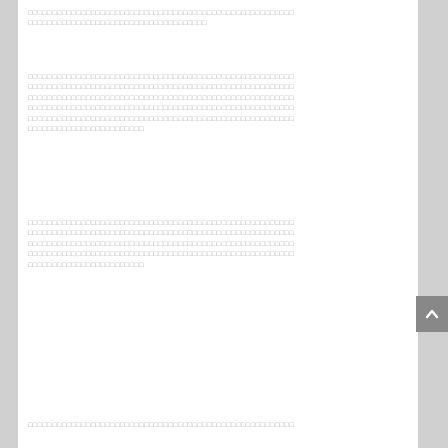[redacted/placeholder text block 1 - two lines of placeholder characters]
[redacted/placeholder text block 2 - six lines of placeholder characters]
[redacted/placeholder text block 3 - five lines of placeholder characters]
[redacted/placeholder text block 4 - partial line of placeholder characters]